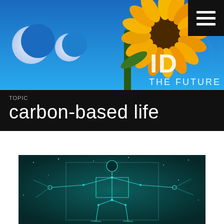[Figure (illustration): Header banner image showing a sunflower against a bright blue sky with two crescent moons on the left side and the text 'ID THE FUTURE' overlaid on the right side in large white letters]
TOPIC
carbon-based life
[Figure (illustration): Digital artwork of a Vitruvian Man style figure rendered in glowing teal/cyan geometric wireframe lines on a dark teal background with stars and constellation-like patterns surrounding the figure]